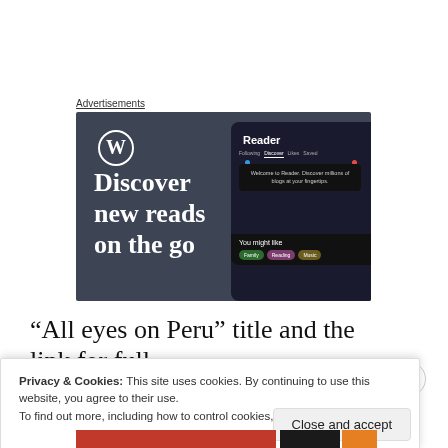Advertisements
[Figure (screenshot): WordPress Reader advertisement showing 'Discover new reads on the go' with WordPress logo and a dark phone UI panel showing Reader interface with tabs (Following, Discover, Likes, Saved), welcome message, and topic tags (Family, Reading, Music)]
“All eyes on Peru” title and the link for full article
Privacy & Cookies: This site uses cookies. By continuing to use this website, you agree to their use.
To find out more, including how to control cookies, see here: Cookie Policy
Close and accept